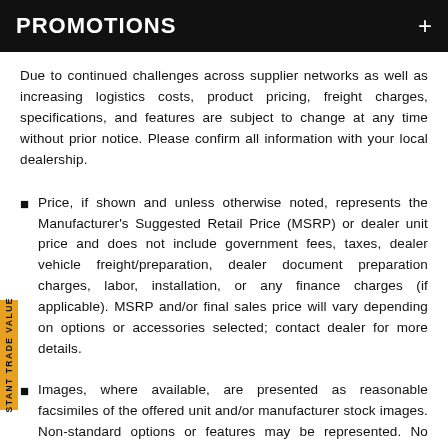PROMOTIONS
Due to continued challenges across supplier networks as well as increasing logistics costs, product pricing, freight charges, specifications, and features are subject to change at any time without prior notice. Please confirm all information with your local dealership.
Price, if shown and unless otherwise noted, represents the Manufacturer's Suggested Retail Price (MSRP) or dealer unit price and does not include government fees, taxes, dealer vehicle freight/preparation, dealer document preparation charges, labor, installation, or any finance charges (if applicable). MSRP and/or final sales price will vary depending on options or accessories selected; contact dealer for more details.
Images, where available, are presented as reasonable facsimiles of the offered unit and/or manufacturer stock images. Non-standard options or features may be represented. No guarantee of availability or inclusion of displayed options should be inferred; contact dealer for